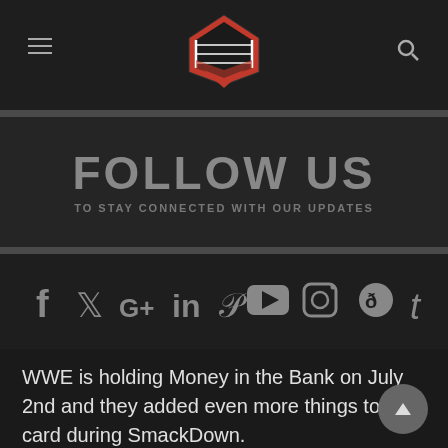Wrestling news site header with hamburger menu, logo, and search icon
FOLLOW US
TO STAY CONNECTED WITH OUR UPDATES
[Figure (infographic): Row of social media icons: Facebook, Twitter, Google+, LinkedIn, Pinterest, YouTube, Instagram, Reddit, Tumblr]
WWE is holding Money in the Bank on July 2nd and they added even more things to the card during SmackDown.